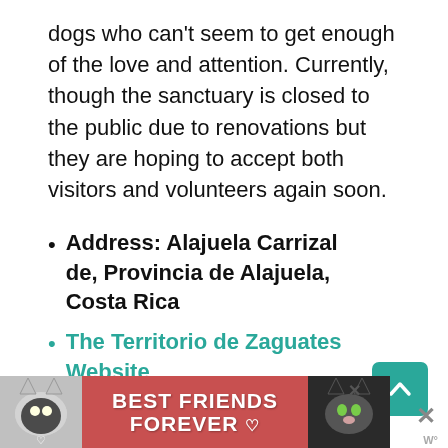dogs who can't seem to get enough of the love and attention. Currently, though the sanctuary is closed to the public due to renovations but they are hoping to accept both visitors and volunteers again soon.
Address: Alajuela Carrizal de, Provincia de Alajuela, Costa Rica
The Territorio de Zaguates Website
Find Territorio de Zaguates on Facebook
Find Territorio de Zaguates on
[Figure (other): Advertisement banner: BEST FRIENDS FOREVER with cat images on both sides]